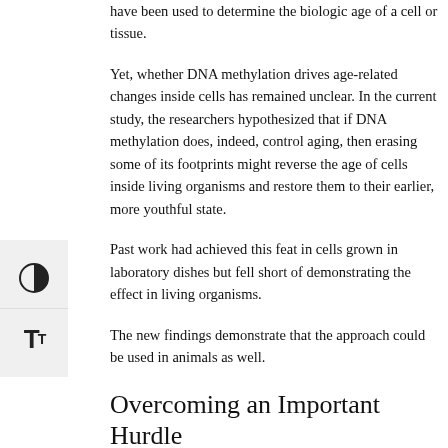have been used to determine the biologic age of a cell or tissue.
Yet, whether DNA methylation drives age-related changes inside cells has remained unclear. In the current study, the researchers hypothesized that if DNA methylation does, indeed, control aging, then erasing some of its footprints might reverse the age of cells inside living organisms and restore them to their earlier, more youthful state.
Past work had achieved this feat in cells grown in laboratory dishes but fell short of demonstrating the effect in living organisms.
The new findings demonstrate that the approach could be used in animals as well.
Overcoming an Important Hurdle
Lead study author Yuancheng Lu, research fellow in genetics at HMS and a former PhD student in Sinclair's lab, developed a gene therapy that could safely reverse the age of cells in a living animal.